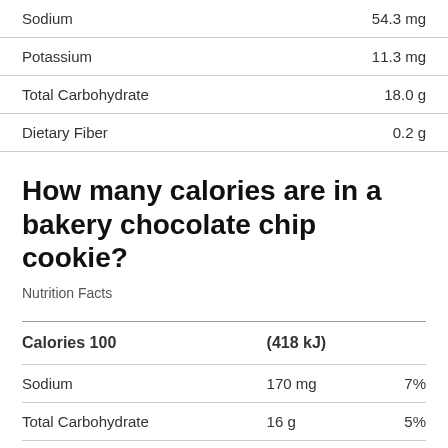| Nutrient | Amount |
| --- | --- |
| Sodium | 54.3 mg |
| Potassium | 11.3 mg |
| Total Carbohydrate | 18.0 g |
| Dietary Fiber | 0.2 g |
How many calories are in a bakery chocolate chip cookie?
Nutrition Facts
|  | Amount | % DV |
| --- | --- | --- |
| Calories 100 | (418 kJ) |  |
| Sodium | 170 mg | 7% |
| Total Carbohydrate | 16 g | 5% |
| Dietary Fiber | 1 g | 4% |